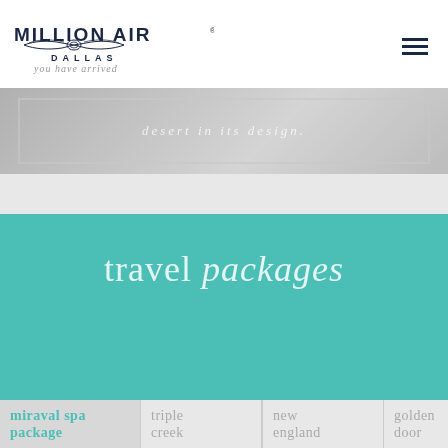[Figure (logo): Million Air Dallas logo with wings emblem and tagline 'you have arrived']
[Figure (photo): Grayscale decorative image strip with italic text 'desert in its design.' visible on a textured background]
travel packages
miraval spa package
triple creek
new england
golden door